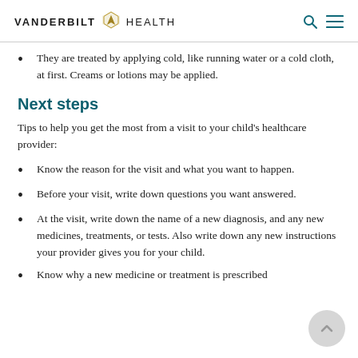VANDERBILT HEALTH
They are treated by applying cold, like running water or a cold cloth, at first. Creams or lotions may be applied.
Next steps
Tips to help you get the most from a visit to your child's healthcare provider:
Know the reason for the visit and what you want to happen.
Before your visit, write down questions you want answered.
At the visit, write down the name of a new diagnosis, and any new medicines, treatments, or tests. Also write down any new instructions your provider gives you for your child.
Know why a new medicine or treatment is prescribed